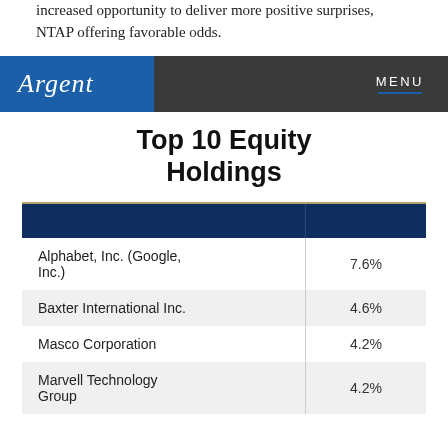increased opportunity to deliver more positive surprises, NTAP offering favorable odds.
Argent | MENU
Top 10 Equity Holdings
|  |  |
| --- | --- |
| Alphabet, Inc. (Google, Inc.) | 7.6% |
| Baxter International Inc. | 4.6% |
| Masco Corporation | 4.2% |
| Marvell Technology Group | 4.2% |